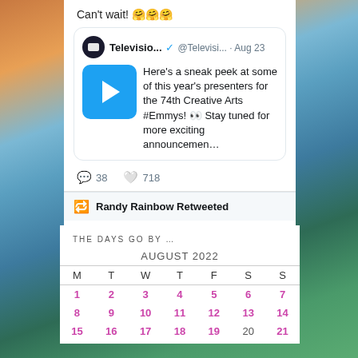Can't wait! 🤗🤗🤗
[Figure (screenshot): Embedded tweet from @Televisio... dated Aug 23, with video thumbnail, text: Here's a sneak peek at some of this year's presenters for the 74th Creative Arts #Emmys! 👀 Stay tuned for more exciting announcemen..., 38 replies, 718 likes]
Randy Rainbow Retweeted
Todd Milliner (verified)
THE DAYS GO BY ...
| M | T | W | T | F | S | S |
| --- | --- | --- | --- | --- | --- | --- |
| 1 | 2 | 3 | 4 | 5 | 6 | 7 |
| 8 | 9 | 10 | 11 | 12 | 13 | 14 |
| 15 | 16 | 17 | 18 | 19 | 20 | 21 |